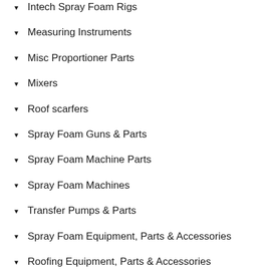Intech Spray Foam Rigs
Measuring Instruments
Misc Proportioner Parts
Mixers
Roof scarfers
Spray Foam Guns & Parts
Spray Foam Machine Parts
Spray Foam Machines
Transfer Pumps & Parts
Spray Foam Equipment, Parts & Accessories
Roofing Equipment, Parts & Accessories
Specialized Polyurethane Foam Equipment &